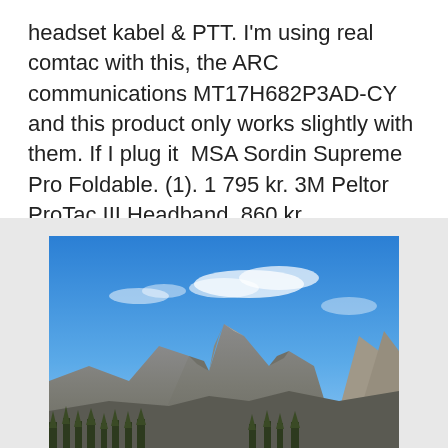headset kabel & PTT. I'm using real comtac with this, the ARC communications MT17H682P3AD-CY and this product only works slightly with them. If I plug it  MSA Sordin Supreme Pro Foldable. (1). 1 795 kr. 3M Peltor ProTac III Headband. 860 kr.
[Figure (photo): Photograph of a rocky mountain range with jagged peaks under a bright blue sky with some wispy clouds. Conifer trees visible at the base of the mountains.]